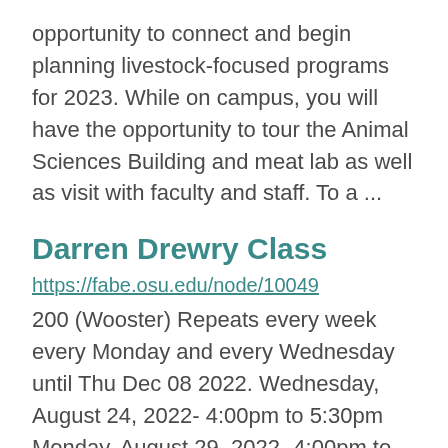opportunity to connect and begin planning livestock-focused programs for 2023. While on campus, you will have the opportunity to tour the Animal Sciences Building and meat lab as well as visit with faculty and staff. To a ...
Darren Drewry Class
https://fabe.osu.edu/node/10049
200 (Wooster) Repeats every week every Monday and every Wednesday until Thu Dec 08 2022. Wednesday, August 24, 2022- 4:00pm to 5:30pm Monday, August 29, 2022- 4:00pm to 5:30pm Wednesday, August 31, 2022- 4:00pm to 5:30pm